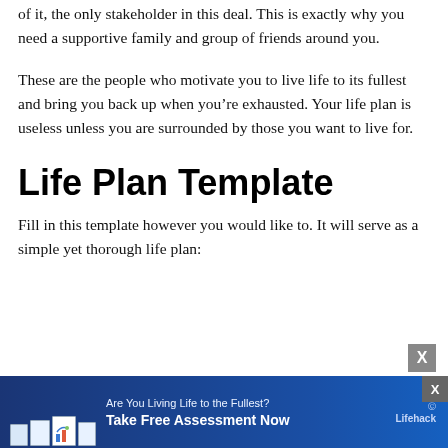of it, the only stakeholder in this deal. This is exactly why you need a supportive family and group of friends around you.
These are the people who motivate you to live life to its fullest and bring you back up when you’re exhausted. Your life plan is useless unless you are surrounded by those you want to live for.
Life Plan Template
Fill in this template however you would like to. It will serve as a simple yet thorough life plan:
[Figure (infographic): Blue advertisement banner for Lifehack: 'Are You Living Life to the Fullest? Take Free Assessment Now' with document/chart images and Lifehack logo. Close buttons visible (X icons).]